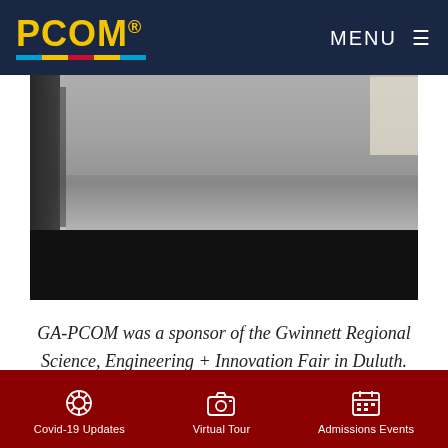PCOM — MENU
[Figure (photo): Hero image showing a blurred close-up of a pencil or pen on a surface, with a dark black bar at the bottom of the image area.]
GA-PCOM was a sponsor of the Gwinnett Regional Science, Engineering + Innovation Fair in Duluth. The fair was for students in grades 3-12.
Admissions team members including Darnae Parks, Whitney Brown and Dee Cunturso, along with
Covid-19 Updates | Virtual Tour | Admissions Events